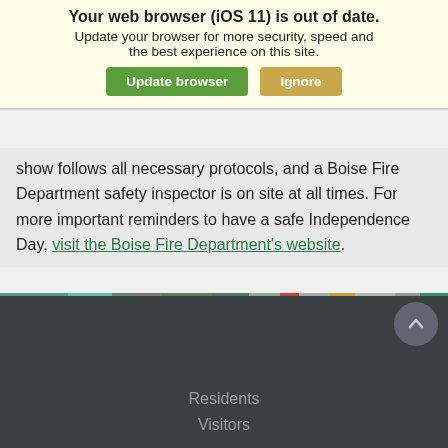[Figure (screenshot): Browser update notification overlay with title 'Your web browser (iOS 11) is out of date.', message 'Update your browser for more security, speed and the best experience on this site.', and two buttons: 'Update browser' (green) and 'Ignore' (tan/yellow).]
home safely
Attending the ... celebration is a great way to enjoy the holiday safely. The professional show follows all necessary protocols, and a Boise Fire Department safety inspector is on site at all times. For more important reminders to have a safe Independence Day, visit the Boise Fire Department's website.
Contact: Parks and Recreation Media Relations
(208) 608-7600 | bpr@cityofboise.org
[Figure (infographic): Decorative color bar strip with multiple colored segments including teal, gray, green, red, orange, and other colors.]
Residents
Visitors